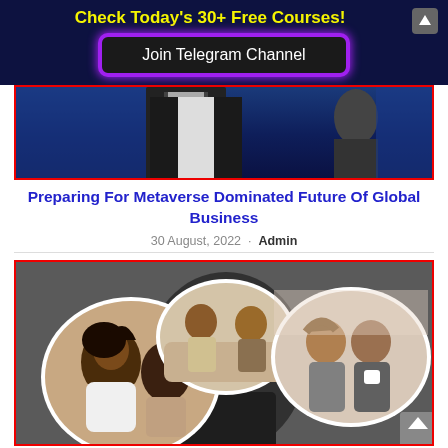Check Today's 30+ Free Courses!
Join Telegram Channel
[Figure (photo): A man in a dark suit and white shirt against a dark blue background with other people visible.]
Preparing For Metaverse Dominated Future Of Global Business
30 August, 2022 · Admin
[Figure (photo): Composite image showing three circular inset photos of couples: a smiling Black woman with a man, a couple talking on a sofa, and a man and woman sharing coffee. Background shows a man from behind.]